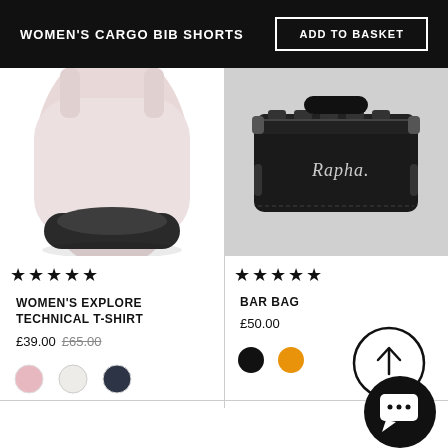WOMEN'S CARGO BIB SHORTS
ADD TO BASKET
[Figure (photo): Bottom portion of a light pink cycling bib shorts with dark chamois pad, white background]
★★★★★
WOMEN'S EXPLORE TECHNICAL T-SHIRT
£39.00 £65.00
[Figure (photo): Color swatches: pink, white/cream, dark navy circles]
[Figure (photo): Black Rapha handlebar bag with branded logo, dark background]
★★★★★
BAR BAG
£50.00
[Figure (illustration): Color swatches: black circle, orange circle]
[Figure (illustration): Scroll-to-top button: circle with upward arrow]
[Figure (illustration): Chat button: black circle with chat icon]